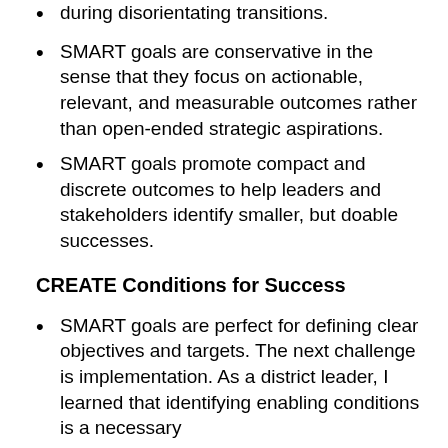during disorientating transitions.
SMART goals are conservative in the sense that they focus on actionable, relevant, and measurable outcomes rather than open-ended strategic aspirations.
SMART goals promote compact and discrete outcomes to help leaders and stakeholders identify smaller, but doable successes.
CREATE Conditions for Success
SMART goals are perfect for defining clear objectives and targets. The next challenge is implementation. As a district leader, I learned that identifying enabling conditions is a necessary